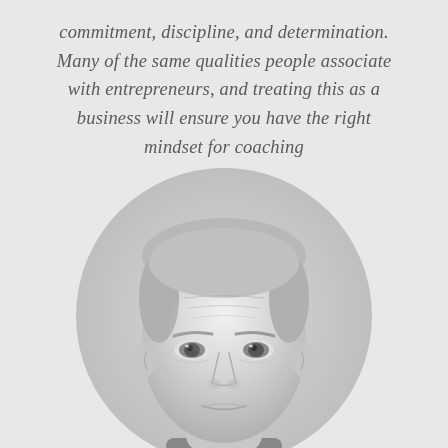commitment, discipline, and determination. Many of the same qualities people associate with entrepreneurs, and treating this as a business will ensure you have the right mindset for coaching
[Figure (photo): Black and white portrait photo of a middle-aged man with short grey hair, light eyes, and a subtle smile, wearing a collared shirt, set against a light circular background]